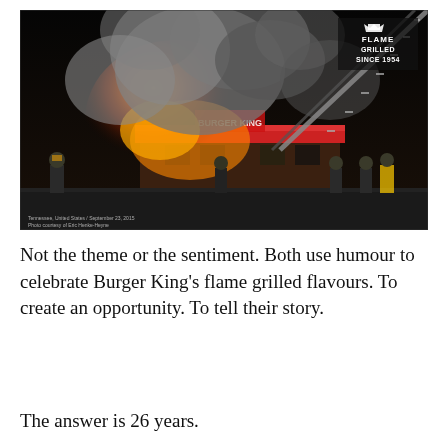[Figure (photo): Nighttime photo of a Burger King restaurant engulfed in flames with heavy smoke billowing upward. Firefighters in gear are visible in the foreground and sides. A fire truck ladder extends from the upper right. The Burger King sign is partially visible through the smoke. In the upper right of the image there is a logo reading 'FLAME GRILLED SINCE 1954'. A small caption at the bottom left reads the location and photo credit.]
Not the theme or the sentiment. Both use humour to celebrate Burger King's flame grilled flavours. To create an opportunity. To tell their story.
The answer is 26 years.